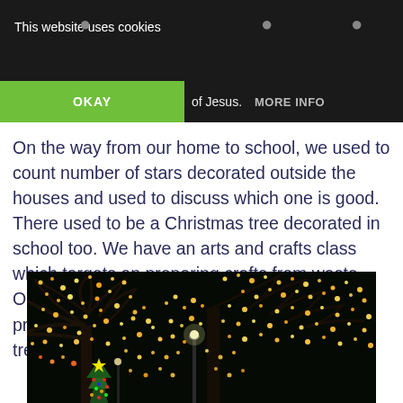This website uses cookies    OKAY    of Jesus.    MORE INFO
On the way from our home to school, we used to count number of stars decorated outside the houses and used to discuss which one is good. There used to be a Christmas tree decorated in school too. We have an arts and crafts class which targets on preparing crafts from waste. Our arts and crafts teacher used to teach on preparing simple crafts to decorate Christmas tree.
[Figure (photo): Night photo of trees decorated with many small Christmas lights glowing orange/golden, with a Christmas tree visible at lower left and a street lamp in the center, against a dark night sky.]